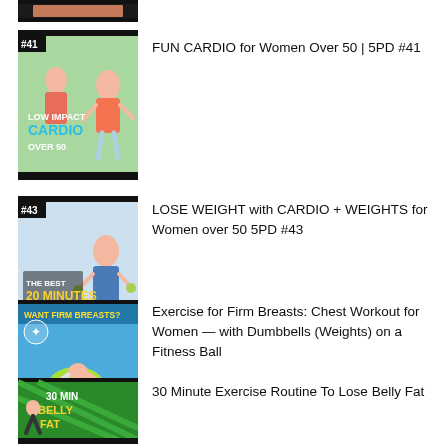[Figure (screenshot): Partial thumbnail at top of page, cropped]
[Figure (screenshot): Thumbnail for FUN CARDIO for Women Over 50 video, labeled #41, Low Impact Cardio Over 50]
FUN CARDIO for Women Over 50 | 5PD #41
[Figure (screenshot): Thumbnail for LOSE WEIGHT with CARDIO + WEIGHTS video, labeled #43, The Best 20 Minutes of Your Day]
LOSE WEIGHT with CARDIO + WEIGHTS for Women over 50 5PD #43
[Figure (screenshot): Thumbnail for Exercise for Firm Breasts video, Want Firm Breasts? with woman on fitness ball]
Exercise for Firm Breasts: Chest Workout for Women — with Dumbbells (Weights) on a Fitness Ball
[Figure (screenshot): Thumbnail for 30 Min Belly Fat video, green background with woman doing exercises]
30 Minute Exercise Routine To Lose Belly Fat